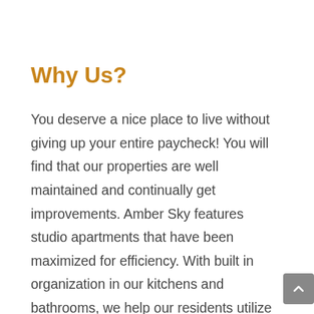Why Us?
You deserve a nice place to live without giving up your entire paycheck! You will find that our properties are well maintained and continually get improvements. Amber Sky features studio apartments that have been maximized for efficiency. With built in organization in our kitchens and bathrooms, we help our residents utilize every bit of space. Our mission is to provide quality housing and pair it with affordable rents.